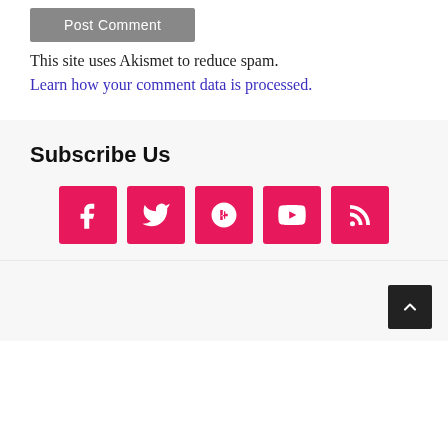[Figure (screenshot): Post Comment button, grey background]
This site uses Akismet to reduce spam.
Learn how your comment data is processed.
Subscribe Us
[Figure (infographic): Row of five pink social media icon buttons: Facebook, Twitter, Google+, YouTube, RSS]
[Figure (infographic): Dark grey scroll-to-top button with upward chevron arrow, bottom right corner]